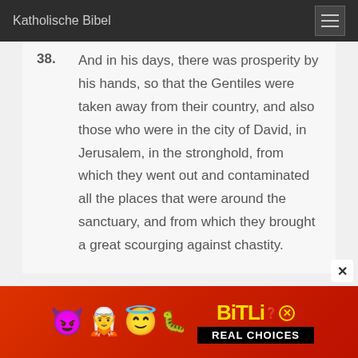Katholische Bibel
38. And in his days, there was prosperity by his hands, so that the Gentiles were taken away from their country, and also those who were in the city of David, in Jerusalem, in the stronghold, from which they went out and contaminated all the places that were around the sanctuary, and from which they brought a great scourging against chastity.
[Figure (illustration): Advertisement banner for BitLife game showing colorful emojis (devil, girl with raised hands, angel face, sperm) on a red background with BitLife logo in yellow and 'REAL CHOICES' in black bar]